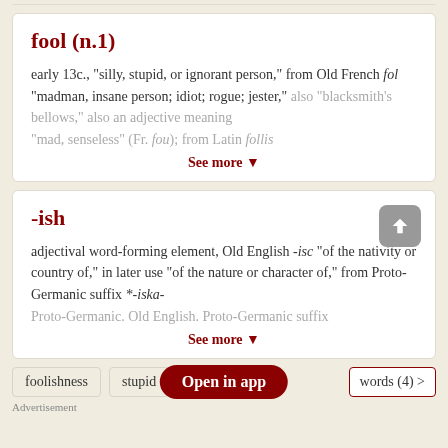fool (n.1)
early 13c., "silly, stupid, or ignorant person," from Old French fol "madman, insane person; idiot; rogue; jester," also "blacksmith's bellows," also an adjective meaning...
See more ▼
-ish
adjectival word-forming element, Old English -isc "of the nativity or country of," in later use "of the nature or character of," from Proto-Germanic suffix *-iska-...
See more ▼
foolishness   stupid   Open in app   words (4) >
Advertisement